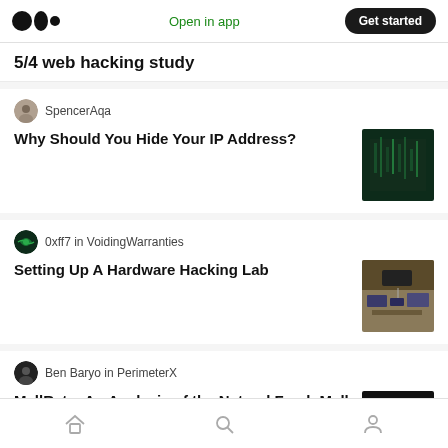Medium logo | Open in app | Get started
5/4 web hacking study
SpencerAqa
Why Should You Hide Your IP Address?
[Figure (photo): Dark green background with code/matrix-style text overlay thumbnail]
0xff7 in VoidingWarranties
Setting Up A Hardware Hacking Lab
[Figure (photo): Photo of hardware lab with circuit boards and electronic equipment]
Ben Baryo in PerimeterX
MallRats: An Analysis of the Natural Fresh Mall Magecart Attack
[Figure (photo): Dark background with shopping cart icon illustration]
Home | Search | Profile navigation icons